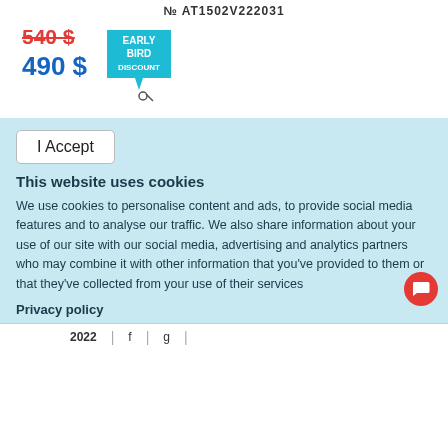No AT1502V222031
540 $
490 $
[Figure (illustration): Early Bird Discount badge in blue with white text]
I Accept
This website uses cookies
We use cookies to personalise content and ads, to provide social media features and to analyse our traffic. We also share information about your use of our site with our social media, advertising and analytics partners who may combine it with other information that you've provided to them or that they've collected from your use of their services
Privacy policy
2022